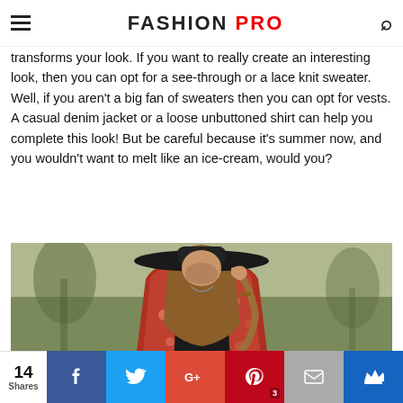FASHION PRO
transforms your look. If you want to really create an interesting look, then you can opt for a see-through or a lace knit sweater. Well, if you aren't a big fan of sweaters then you can opt for vests. A casual denim jacket or a loose unbuttoned shirt can help you complete this look! But be careful because it's summer now, and you wouldn't want to melt like an ice-cream, would you?
[Figure (photo): Woman wearing a wide-brim black hat and patterned floral jacket, looking down, photographed outdoors with blurred background.]
14 Shares | Facebook | Twitter | Google+ | Pinterest 3 | Email | Crown